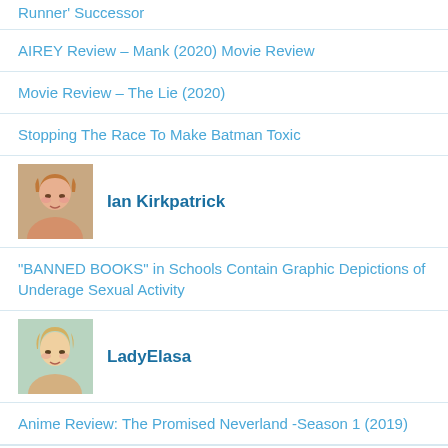Runner' Successor
AIREY Review – Mank (2020) Movie Review
Movie Review – The Lie (2020)
Stopping The Race To Make Batman Toxic
[Figure (photo): Profile photo of Ian Kirkpatrick, a person with reddish-blonde hair]
Ian Kirkpatrick
“BANNED BOOKS” in Schools Contain Graphic Depictions of Underage Sexual Activity
[Figure (photo): Profile photo of LadyElasa, a young woman with blonde hair]
LadyElasa
Anime Review: The Promised Neverland -Season 1 (2019)